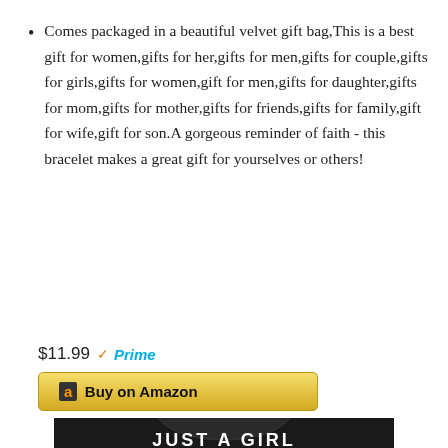Comes packaged in a beautiful velvet gift bag,This is a best gift for women,gifts for her,gifts for men,gifts for couple,gifts for girls,gifts for women,gift for men,gifts for daughter,gifts for mom,gifts for mother,gifts for friends,gifts for family,gift for wife,gift for son.A gorgeous reminder of faith - this bracelet makes a great gift for yourselves or others!
$11.99 Prime
[Figure (screenshot): Buy on Amazon button with Amazon logo]
[Figure (photo): Black t-shirt with text 'JUST A GIRL' partially visible at bottom of page]